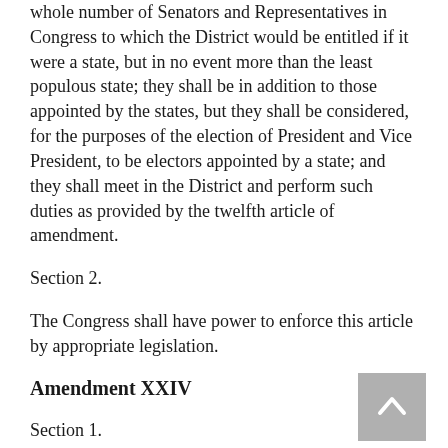whole number of Senators and Representatives in Congress to which the District would be entitled if it were a state, but in no event more than the least populous state; they shall be in addition to those appointed by the states, but they shall be considered, for the purposes of the election of President and Vice President, to be electors appointed by a state; and they shall meet in the District and perform such duties as provided by the twelfth article of amendment.
Section 2.
The Congress shall have power to enforce this article by appropriate legislation.
Amendment XXIV
Section 1.
The right of citizens of the United States to vote in any primary or other election for President or Vice President, for electors for President